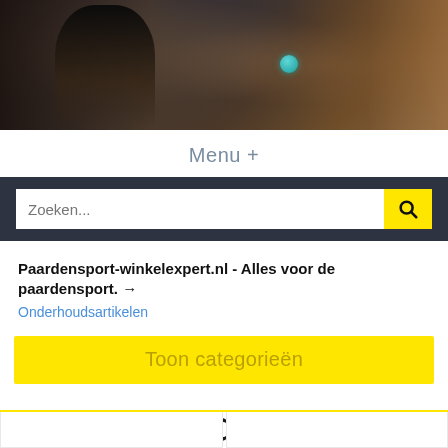[Figure (photo): Hero banner image showing a female equestrian rider wearing a black helmet on the left, horse tack with a turquoise ball detail in the center, and a brown horse head on the right. Dark moody lighting.]
Menu +
Zoeken...
Paardensport-winkelexpert.nl - Alles voor de paardensport. → Onderhoudsartikelen
Toon categorieën
Onderhoudsartikelen